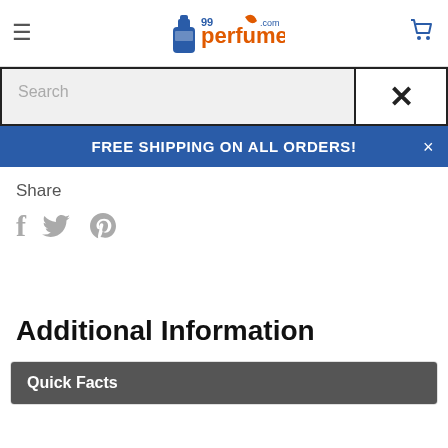99perfume.com
Search
FREE SHIPPING ON ALL ORDERS!
Share
Additional Information
Quick Facts